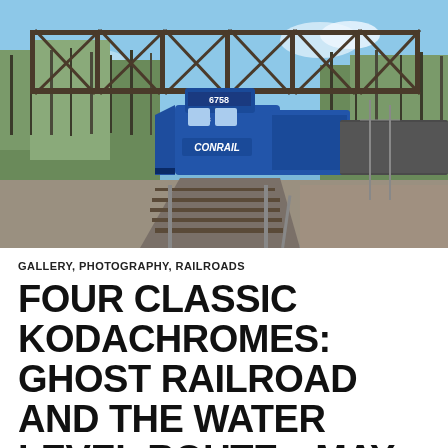[Figure (photo): A blue Conrail locomotive numbered 6758 pulling a freight train under a steel truss bridge. Trees with early spring foliage are visible in the background against a blue sky. Railroad tracks curve to the right.]
GALLERY, PHOTOGRAPHY, RAILROADS
FOUR CLASSIC KODACHROMES: GHOST RAILROAD AND THE WATER LEVEL ROUTE—MAY 13,